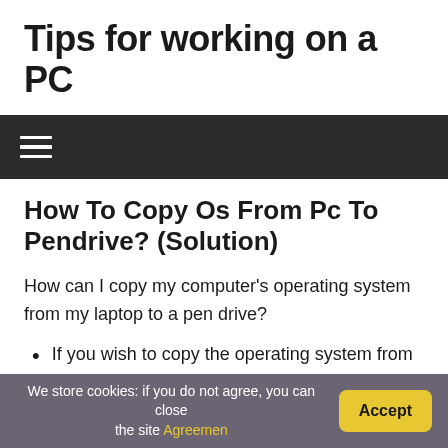Tips for working on a PC
How To Copy Os From Pc To Pendrive? (Solution)
How can I copy my computer’s operating system from my laptop to a pen drive?
If you wish to copy the operating system from a
We store cookies: if you do not agree, you can close the site Agreemen